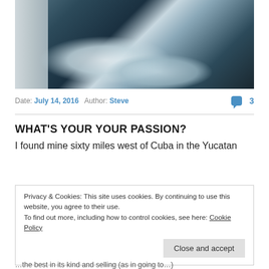[Figure (photo): A sailing boat deck with rough ocean waves in the Yucatan, dark blue-grey water with white foam]
Date: July 14, 2016   Author: Steve   💬 3
WHAT'S YOUR YOUR PASSION?
I found mine sixty miles west of Cuba in the Yucatan
Privacy & Cookies: This site uses cookies. By continuing to use this website, you agree to their use.
To find out more, including how to control cookies, see here: Cookie Policy
Close and accept
…the best in its kind and selling (as in going to…)